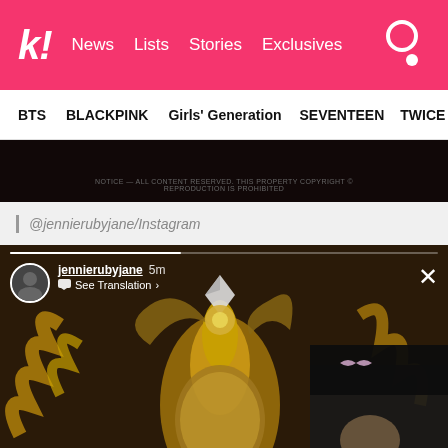k! News  Lists  Stories  Exclusives
BTS  BLACKPINK  Girls' Generation  SEVENTEEN  TWICE
[Figure (screenshot): Dark image strip at top, cropped photo]
| @jennierubyjane/Instagram
[Figure (screenshot): Instagram story screenshot showing jennierubyjane 5m with See Translation option and ornate gold baroque decorative frame with person in black hat visible at right edge]